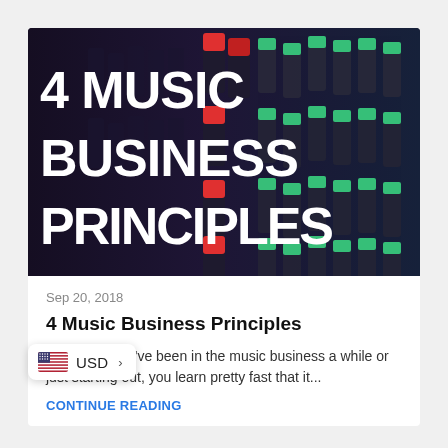[Figure (photo): Dark close-up photo of a music mixing board with red and green LED indicators. Bold white text overlaid reads '4 MUSIC BUSINESS PRINCIPLES'.]
Sep 20, 2018
4 Music Business Principles
Friends, If you've been in the music business a while or just starting out, you learn pretty fast that it...
CONTINUE READING